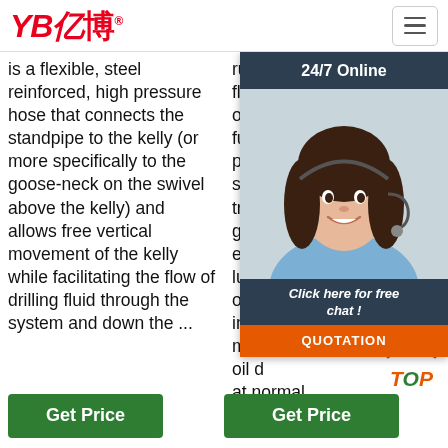YB亿博 logo and navigation
is a flexible, steel reinforced, high pressure hose that connects the standpipe to the kelly (or more specifically to the goose-neck on the swivel above the kelly) and allows free vertical movement of the kelly while facilitating the flow of drilling fluid through the system and down the ...
rubber fuel oil hose, flexible fuel oil hose, fuel oil pipe, suitable for transmitting gas, engine oil, lubricants and other industrial, mining oil depot, terminals at normal temperatures.
[Figure (screenshot): 24/7 Online popup with customer service representative photo, 'Click here for free chat!' text and orange QUOTATION button]
[Figure (other): TOP button with dotted arc and orange/green styling]
Get Price
Get Price